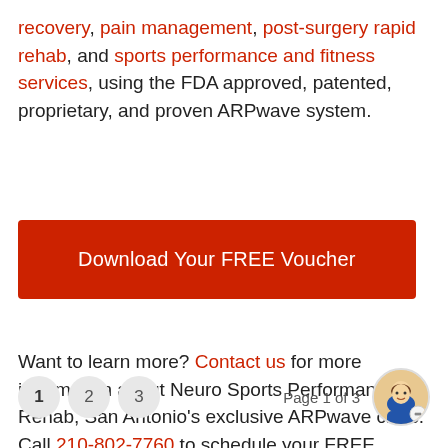recovery, pain management, post-surgery rapid rehab, and sports performance and fitness services, using the FDA approved, patented, proprietary, and proven ARPwave system.
[Figure (other): Red button reading 'Download Your FREE Voucher']
Want to learn more? Contact us for more information about Neuro Sports Performance & Rehab, San Antonio's exclusive ARPwave clinic. Call 210-802-7760 to schedule your FREE consultation!
Page 1 of 3